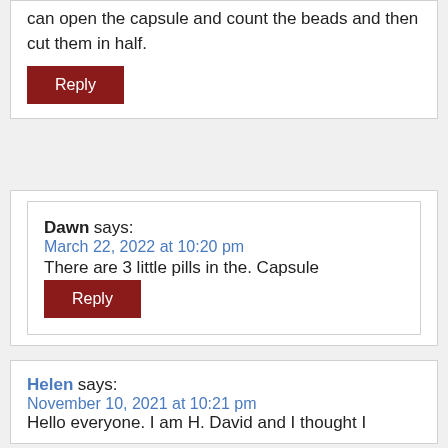can open the capsule and count the beads and then cut them in half.
Reply
Dawn says:
March 22, 2022 at 10:20 pm
There are 3 little pills in the. Capsule
Reply
Helen says:
November 10, 2021 at 10:21 pm
Hello everyone. I am H. David and I thought I